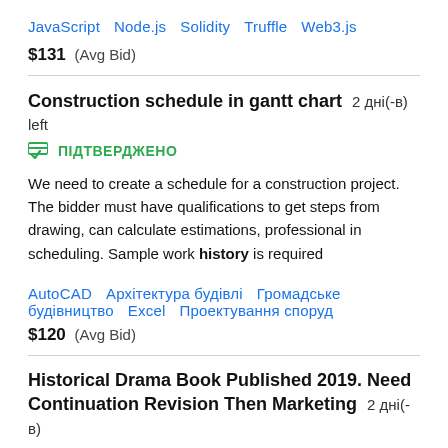JavaScript  Node.js  Solidity  Truffle  Web3.js
$131  (Avg Bid)
Construction schedule in gantt chart  2 дні(-в) left
ПІДТВЕРДЖЕНО
We need to create a schedule for a construction project. The bidder must have qualifications to get steps from drawing, can calculate estimations, professional in scheduling. Sample work history is required
AutoCAD  Архітектура будівлі  Громадське будівництво  Excel  Проектування споруд
$120  (Avg Bid)
Historical Drama Book Published 2019. Need Continuation Revision Then Marketing  2 дні(-в) left
ПІДТВЕРДЖЕНО